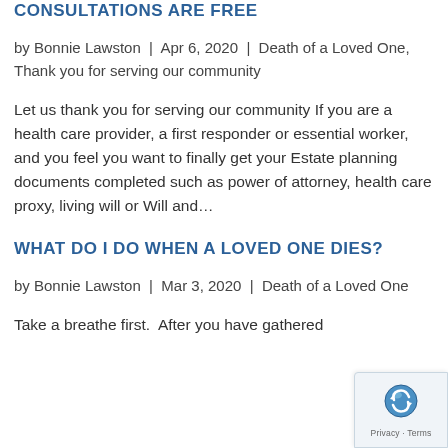CONSULTATIONS ARE FREE
by Bonnie Lawston | Apr 6, 2020 | Death of a Loved One, Thank you for serving our community
Let us thank you for serving our community If you are a health care provider, a first responder or essential worker, and you feel you want to finally get your Estate planning documents completed such as power of attorney, health care proxy, living will or Will and…
WHAT DO I DO WHEN A LOVED ONE DIES?
by Bonnie Lawston | Mar 3, 2020 | Death of a Loved One
Take a breathe first.  After you have gathered